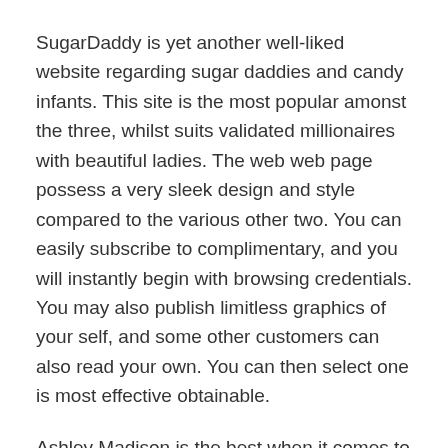SugarDaddy is yet another well-liked website regarding sugar daddies and candy infants. This site is the most popular amonst the three, whilst suits validated millionaires with beautiful ladies. The web web page possess a very sleek design and style compared to the various other two. You can easily subscribe to complimentary, and you will instantly begin with browsing credentials. You may also publish limitless graphics of your self, and some other customers can also read your own. You can then select one is most effective obtainable.
Ashley Madison is the best when it comes to sugar daddy sites. Its protected for glucose daddies with become betrothed. It’s got most members than Searching for solution, but really still a great choice for those who find themselves selecting a casual union. You can also find many people according to a income level on Ashley